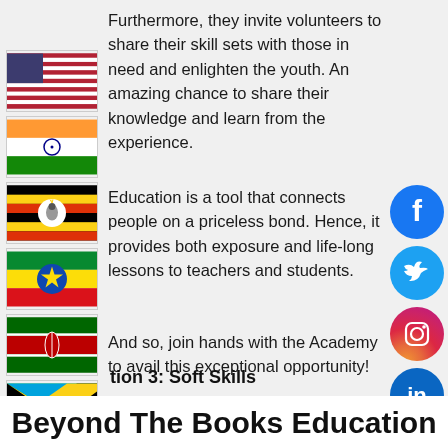Furthermore, they invite volunteers to share their skill sets with those in need and enlighten the youth. An amazing chance to share their knowledge and learn from the experience.
Education is a tool that connects people on a priceless bond. Hence, it provides both exposure and life-long lessons to teachers and students.
And so, join hands with the Academy to avail this exceptional opportunity!
[Figure (illustration): Country flags stacked vertically on left side: USA, India, Uganda, Ethiopia, Kenya, Tanzania, Antigua and Barbuda, Trinidad and Tobago, Saint Lucia]
[Figure (illustration): Social media icons on right: Facebook (blue circle with f), Twitter (blue circle with bird), Instagram (gradient circle with camera), LinkedIn (blue circle with in)]
tion 3: Soft Skills
Beyond The Books Education